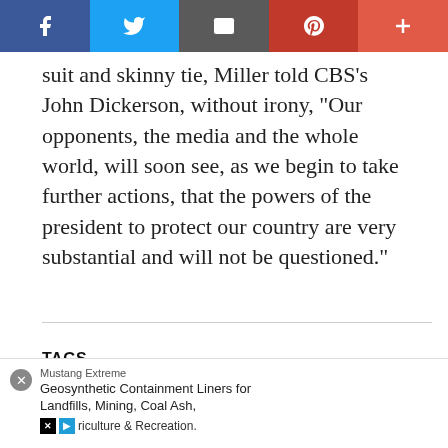[Figure (other): Social sharing bar with Facebook (blue), Twitter (light blue), Email (gray), Pinterest (red), and Plus/More (orange-red) buttons with white icons]
suit and skinny tie, Miller told CBS’s John Dickerson, without irony, “Our opponents, the media and the whole world, will soon see, as we begin to take further actions, that the powers of the president to protect our country are very substantial and will not be questioned.”
TAGS
NATIONAL
TRUMP
IMMIGRATION
NEWS
AMERICA HELL…
[Figure (other): Ad overlay: Mustang Extreme ad - Geosynthetic Containment Liners for Landfills, Mining, Coal Ash, Agriculture & Recreation. With X and DSP logos.]